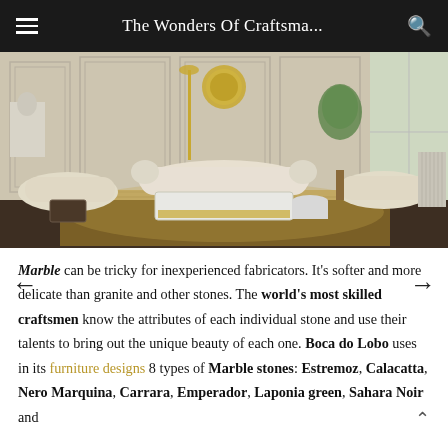The Wonders Of Craftsma...
[Figure (photo): Luxury living room interior with cream upholstered sofas and armchairs, a marble and gold coffee table, decorative golden floor lamp, large golden wall art medallion, and lush indoor plant by bright windows.]
Marble can be tricky for inexperienced fabricators. It's softer and more delicate than granite and other stones. The world's most skilled craftsmen know the attributes of each individual stone and use their talents to bring out the unique beauty of each one. Boca do Lobo uses in its furniture designs 8 types of Marble stones: Estremoz, Calacatta, Nero Marquina, Carrara, Emperador, Laponia green, Sahara Noir and